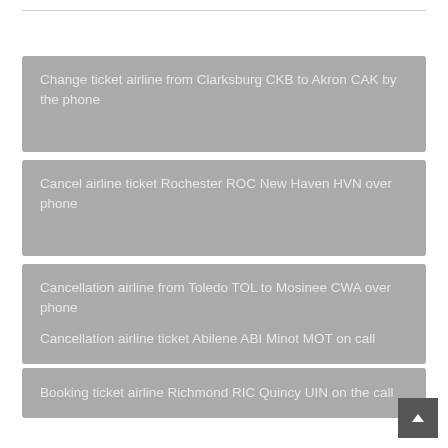Change ticket airline from Clarksburg CKB to Akron CAK by the phone
Cancel airline ticket Rochester ROC New Haven HVN over phone
Cancellation airline from Toledo TOL to Mosinee CWA over phone
Cancellation airline ticket Abilene ABI Minot MOT on call
Booking ticket airline Richmond RIC Quincy UIN on the call